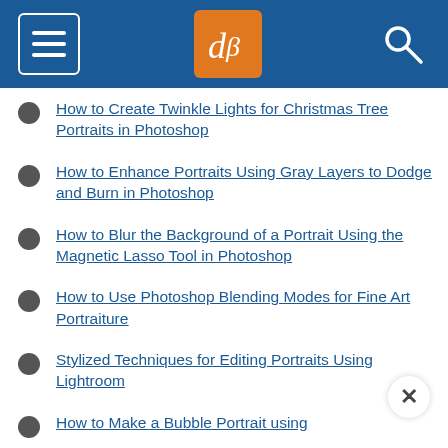[Figure (screenshot): Website header bar with hamburger menu icon on left, dPS logo (orange box with stylized dP) in center, and search icon on right, all on dark blue background]
How to Create Twinkle Lights for Christmas Tree Portraits in Photoshop
How to Enhance Portraits Using Gray Layers to Dodge and Burn in Photoshop
How to Blur the Background of a Portrait Using the Magnetic Lasso Tool in Photoshop
How to Use Photoshop Blending Modes for Fine Art Portraiture
Stylized Techniques for Editing Portraits Using Lightroom
How to Make a Bubble Portrait using